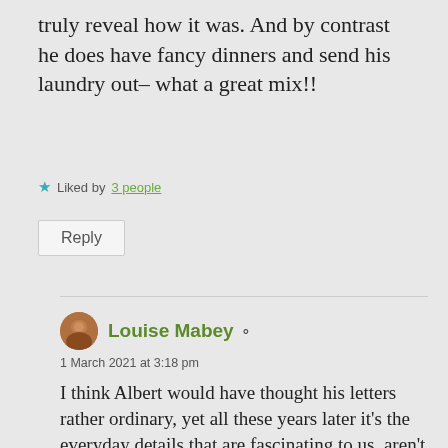truly reveal how it was. And by contrast he does have fancy dinners and send his laundry out– what a great mix!!
★ Liked by 3 people
Reply
Louise Mabey
1 March 2021 at 3:18 pm
I think Albert would have thought his letters rather ordinary, yet all these years later it's the everyday details that are fascinating to us, aren't they? I was happy to know he had a nice